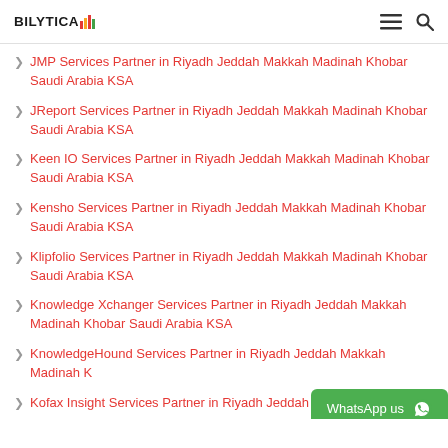BILYTICA [logo with bar chart icon] [hamburger menu] [search icon]
JMP Services Partner in Riyadh Jeddah Makkah Madinah Khobar Saudi Arabia KSA
JReport Services Partner in Riyadh Jeddah Makkah Madinah Khobar Saudi Arabia KSA
Keen IO Services Partner in Riyadh Jeddah Makkah Madinah Khobar Saudi Arabia KSA
Kensho Services Partner in Riyadh Jeddah Makkah Madinah Khobar Saudi Arabia KSA
Klipfolio Services Partner in Riyadh Jeddah Makkah Madinah Khobar Saudi Arabia KSA
Knowledge Xchanger Services Partner in Riyadh Jeddah Makkah Madinah Khobar Saudi Arabia KSA
KnowledgeHound Services Partner in Riyadh Jeddah Makkah Madinah K…
Kofax Insight Services Partner in Riyadh Jeddah